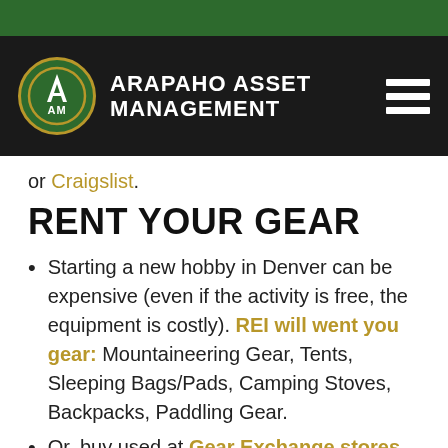[Figure (logo): Arapaho Asset Management logo with green circle, gold border, white A and AM letters, and white brand text on black navigation bar]
or Craigslist.
RENT YOUR GEAR
Starting a new hobby in Denver can be expensive (even if the activity is free, the equipment is costly). REI will went you gear: Mountaineering Gear, Tents, Sleeping Bags/Pads, Camping Stoves, Backpacks, Paddling Gear.
Or, buy used at Gear Exchange stores, Craigslist or Swap Meets